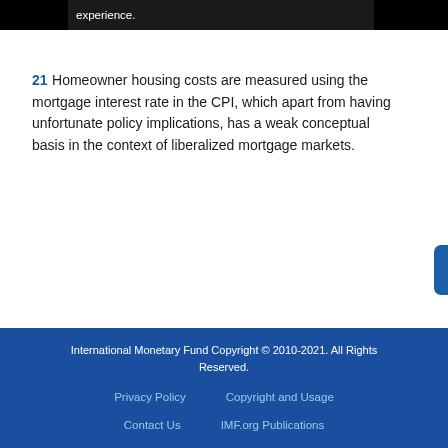21 Homeowner housing costs are measured using the mortgage interest rate in the CPI, which apart from having unfortunate policy implications, has a weak conceptual basis in the context of liberalized mortgage markets.
International Monetary Fund Copyright © 2010-2021. All Rights Reserved.
Privacy Policy    Copyright and Usage
Contact Us    IMF.org Publications